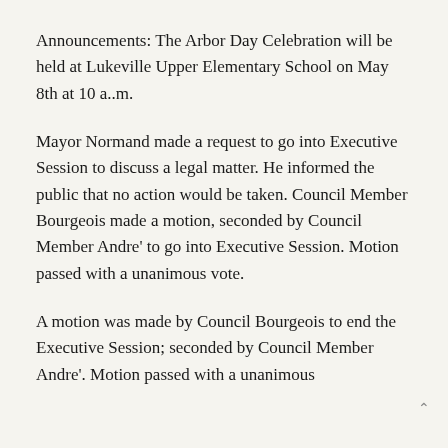Announcements: The Arbor Day Celebration will be held at Lukeville Upper Elementary School on May 8th at 10 a..m.
Mayor Normand made a request to go into Executive Session to discuss a legal matter. He informed the public that no action would be taken. Council Member Bourgeois made a motion, seconded by Council Member Andre' to go into Executive Session. Motion passed with a unanimous vote.
A motion was made by Council Bourgeois to end the Executive Session; seconded by Council Member Andre'. Motion passed with a unanimous